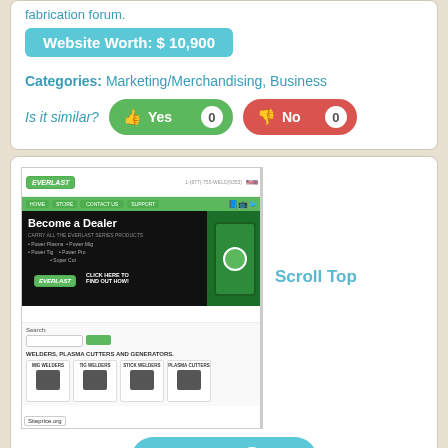fabrication forum.
Website Worth: $ 10,900
Categories: Marketing/Merchandising, Business
Is it similar? Yes 0  No 0
[Figure (screenshot): Screenshot of Everlast welders website showing 'Become a Dealer' banner with green welding machine, product categories including MIG Welders, TIG Welders, Stick Welders, Plasma Cutters. Siteprice.org watermark.]
Scroll Top
Like 0